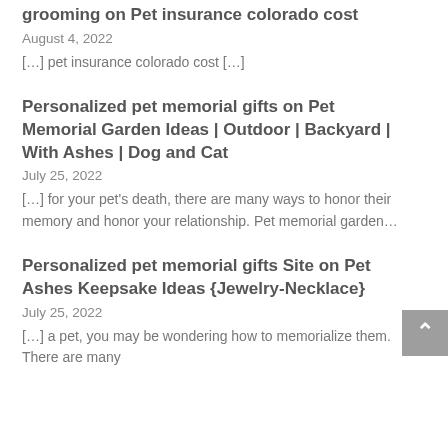grooming on Pet insurance colorado cost
August 4, 2022
[…] pet insurance colorado cost […]
Personalized pet memorial gifts on Pet Memorial Garden Ideas | Outdoor | Backyard | With Ashes | Dog and Cat
July 25, 2022
[…] for your pet's death, there are many ways to honor their memory and honor your relationship. Pet memorial garden…
Personalized pet memorial gifts Site on Pet Ashes Keepsake Ideas {Jewelry-Necklace}
July 25, 2022
[…] a pet, you may be wondering how to memorialize them. There are many